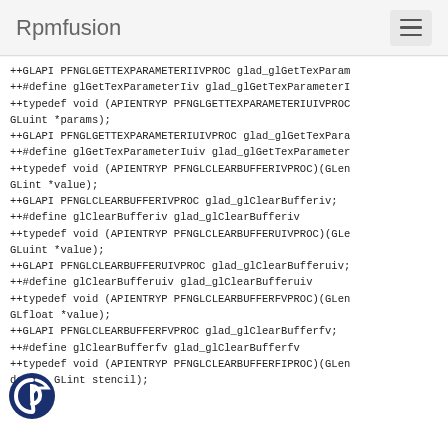Rpmfusion
++GLAPI PFNGLGETTEXPARAMETERIIVPROC glad_glGetTexParam
++#define glGetTexParameterIiv glad_glGetTexParameterI
++typedef void (APIENTRYP PFNGLGETTEXPARAMETERIUIVPROC
GLuint *params);
++GLAPI PFNGLGETTEXPARAMETERIUIVPROC glad_glGetTexPara
++#define glGetTexParameterIuiv glad_glGetTexParameter
++typedef void (APIENTRYP PFNGLCLEARBUFFERIVPROC)(GLen
GLint *value);
++GLAPI PFNGLCLEARBUFFERIVPROC glad_glClearBufferiv;
++#define glClearBufferiv glad_glClearBufferiv
++typedef void (APIENTRYP PFNGLCLEARBUFFERUIVPROC)(GLe
GLuint *value);
++GLAPI PFNGLCLEARBUFFERUIVPROC glad_glClearBufferuiv;
++#define glClearBufferuiv glad_glClearBufferuiv
++typedef void (APIENTRYP PFNGLCLEARBUFFERFVPROC)(GLen
GLfloat *value);
++GLAPI PFNGLCLEARBUFFERFVPROC glad_glClearBufferfv;
++#define glClearBufferfv glad_glClearBufferfv
++typedef void (APIENTRYP PFNGLCLEARBUFFERFIPROC)(GLen
depth, GLint stencil);